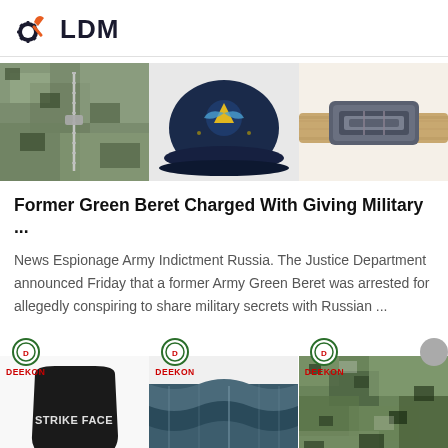[Figure (logo): LDM logo with gear and wrench icon in navy and orange, text LDM in bold navy]
[Figure (photo): Three product images in a row: camouflage fabric with zipper, navy military cap with emblem, tan tactical belt with metal buckle]
Former Green Beret Charged With Giving Military ...
News Espionage Army Indictment Russia. The Justice Department announced Friday that a former Army Green Beret was arrested for allegedly conspiring to share military secrets with Russian ...
[Figure (photo): Three product thumbnails each with DEEKON badge: black ballistic plate labeled STRIKE FACE, dark blue/teal fabric, green digital camouflage fabric]